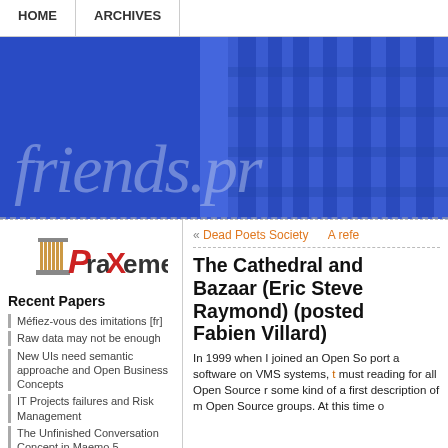HOME   ARCHIVES
[Figure (screenshot): Blue banner with large italic text 'friends.pr' and architectural grid pattern on right]
[Figure (logo): Praxeme logo with column icon and stylized text]
Recent Papers
Méfiez-vous des imitations [fr]
Raw data may not be enough
New UIs need semantic approache and Open Business Concepts
IT Projects failures and Risk Management
The Unfinished Conversation Concept in Maemo 5
About Sir Ken Robinson talk "Bring on the learning revolution!"
« Dead Poets Society   A refe
The Cathedral and Bazaar (Eric Steve Raymond) (posted Fabien Villard)
In 1999 when I joined an Open So port a software on VMS systems, t must reading for all Open Source r some kind of a first description of m Open Source groups. At this time o